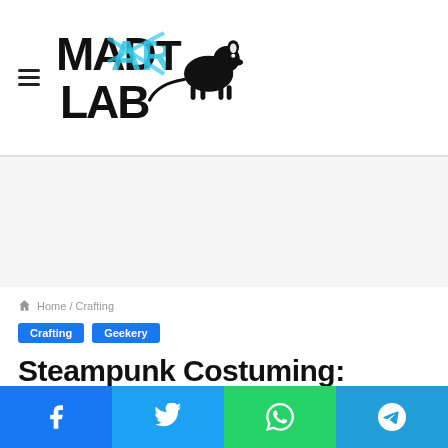Mad Art Lab — hamburger menu and logo
[Figure (logo): Mad Art Lab logo with rat silhouette and stylized blue/black lettering]
Advertisement area (blank)
Home / Crafting
Crafting  Geekery
Steampunk Costuming: The Embroidered Corset
Social share buttons: Facebook, Twitter, WhatsApp, Telegram